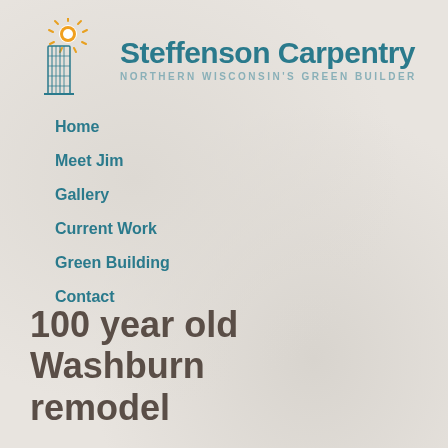[Figure (logo): Steffenson Carpentry logo with sun graphic above a building/trees illustration, teal colored]
Steffenson Carpentry
NORTHERN WISCONSIN'S GREEN BUILDER
Home
Meet Jim
Gallery
Current Work
Green Building
Contact
100 year old Washburn remodel